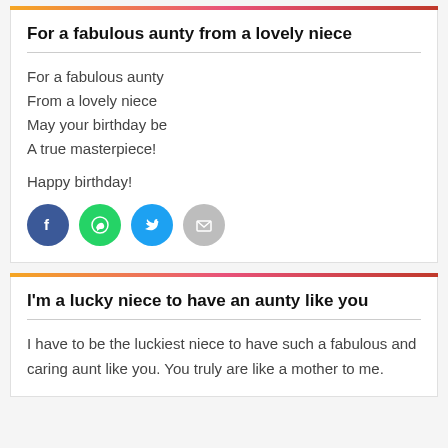For a fabulous aunty from a lovely niece
For a fabulous aunty
From a lovely niece
May your birthday be
A true masterpiece!

Happy birthday!
[Figure (infographic): Four social share icons: Facebook (blue circle with f), WhatsApp (green circle with phone/chat icon), Twitter (light blue circle with bird), Email (grey circle with envelope)]
I'm a lucky niece to have an aunty like you
I have to be the luckiest niece to have such a fabulous and caring aunt like you. You truly are like a mother to me.